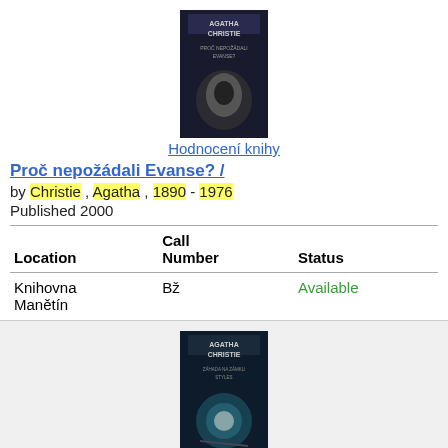[Figure (photo): Book cover of Agatha Christie - Proč nepožádali Evanse?]
Hodnocení knihy
Proč nepožádali Evanse? /
by Christie , Agatha , 1890 - 1976
Published 2000
| Location | Call Number | Status |
| --- | --- | --- |
| Knihovna Manětín | Bž | Available |
Book
[Figure (photo): Book cover of Agatha Christie - Záhada na zámku Styles]
Hodnocení knihy
Záhada na zámku Styles /